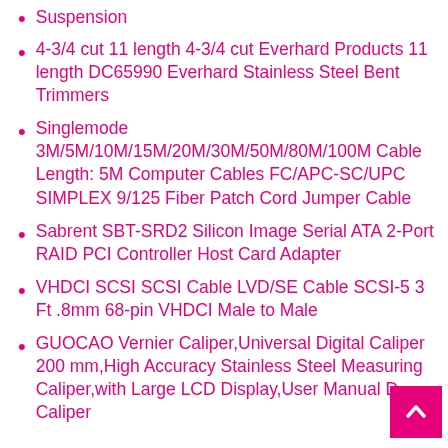Suspension
4-3/4 cut 11 length 4-3/4 cut Everhard Products 11 length DC65990 Everhard Stainless Steel Bent Trimmers
Singlemode 3M/5M/10M/15M/20M/30M/50M/80M/100M Cable Length: 5M Computer Cables FC/APC-SC/UPC SIMPLEX 9/125 Fiber Patch Cord Jumper Cable
Sabrent SBT-SRD2 Silicon Image Serial ATA 2-Port RAID PCI Controller Host Card Adapter
VHDCI SCSI SCSI Cable LVD/SE Cable SCSI-5 3 Ft .8mm 68-pin VHDCI Male to Male
GUOCAO Vernier Caliper,Universal Digital Caliper 200 mm,High Accuracy Stainless Steel Measuring Caliper,with Large LCD Display,User Manual Digital Caliper